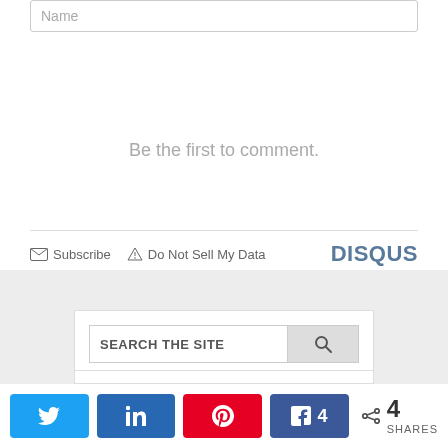Name
Be the first to comment.
Subscribe  Do Not Sell My Data  DISQUS
SEARCH THE SITE
4 SHARES